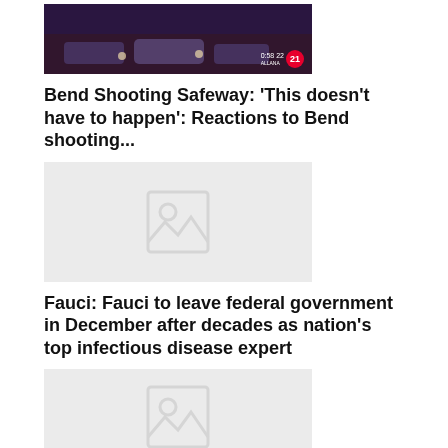[Figure (photo): News video thumbnail showing cars at night with a channel 21 bug overlay]
Bend Shooting Safeway: 'This doesn't have to happen': Reactions to Bend shooting...
[Figure (photo): Placeholder image thumbnail (image not loaded)]
Fauci: Fauci to leave federal government in December after decades as nation's top infectious disease expert
[Figure (photo): Placeholder image thumbnail (image not loaded)]
Man United: Man arrested for ding on Man United Su...